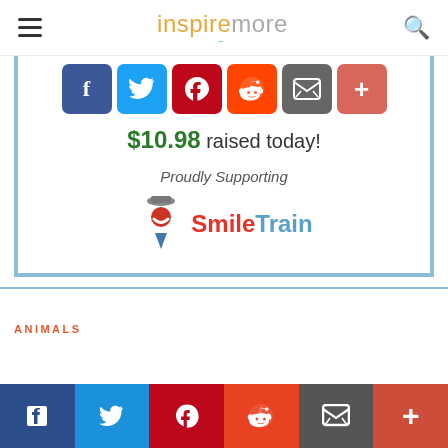inspiremore
[Figure (screenshot): Social share buttons row: Facebook (blue), Twitter (light blue), Pinterest (dark red), Reddit (orange), Email (gray), More/Plus (salmon-red)]
$10.98 raised today!
Proudly Supporting
[Figure (logo): Smile Train logo with mascot icon and text 'SmileTrain']
ANIMALS
[Figure (screenshot): Bottom social share bar: Facebook, Twitter, Pinterest, Reddit, Email, More/Plus buttons spanning full width]